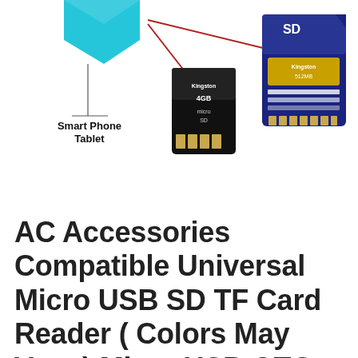[Figure (illustration): Product illustration showing a micro USB OTG card reader connected to a Smart Phone/Tablet (shown top-left), a micro SD card (Kingston 4GB, shown center), and a full-size SD card (Kingston 512MB, shown top-right). Red arrows indicate connections.]
AC Accessories Compatible Universal Micro USB SD TF Card Reader ( Colors May Vary ) Micro USB OTG Adapter For Android Mobile Phones Laptop PC